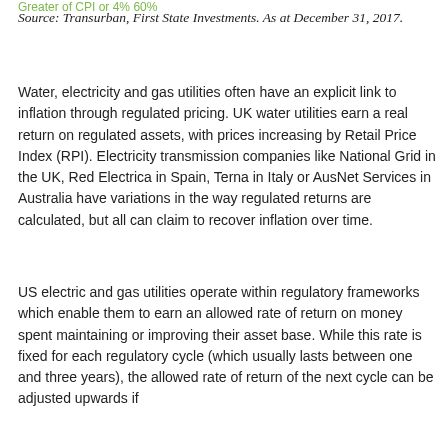Greater of CPI or 4% 60%
Source: Transurban, First State Investments. As at December 31, 2017.
Water, electricity and gas utilities often have an explicit link to inflation through regulated pricing. UK water utilities earn a real return on regulated assets, with prices increasing by Retail Price Index (RPI). Electricity transmission companies like National Grid in the UK, Red Electrica in Spain, Terna in Italy or AusNet Services in Australia have variations in the way regulated returns are calculated, but all can claim to recover inflation over time.
US electric and gas utilities operate within regulatory frameworks which enable them to earn an allowed rate of return on money spent maintaining or improving their asset base. While this rate is fixed for each regulatory cycle (which usually lasts between one and three years), the allowed rate of return of the next cycle can be adjusted upwards if